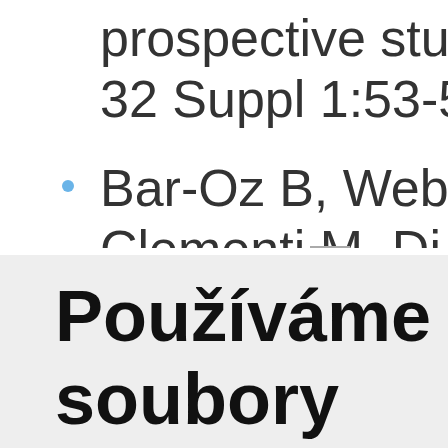prospective study. N 32 Suppl 1:53-56. (IF
Bar-Oz B, Weber-Sch Clementi M, Di Giana
Používáme soubory